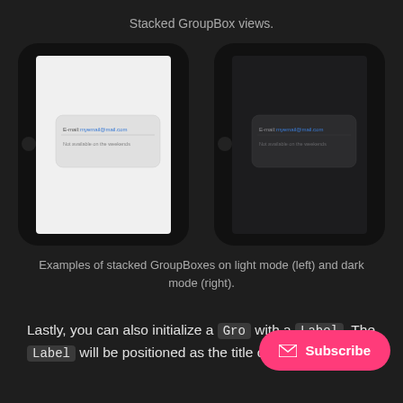Stacked GroupBox views.
[Figure (screenshot): Two iPhone screenshots side by side: left shows a GroupBox with Email field and 'Not available on the weekends' text in light mode; right shows the same in dark mode.]
Examples of stacked GroupBoxes on light mode (left) and dark mode (right).
Lastly, you can also initialize a GroupBox with a Label . The Label will be positioned as the title of